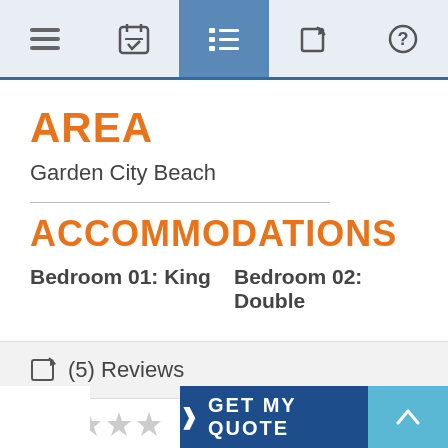[Figure (screenshot): Top navigation bar with 5 icons: hamburger menu, calendar/checklist, list (active/highlighted), edit, and help/question mark]
AREA
Garden City Beach
ACCOMMODATIONS
Bedroom 01: King    Bedroom 02: Double
(5) Reviews
[Figure (other): Star rating row showing approximately 3 out of 5 stars]
> GET MY QUOTE